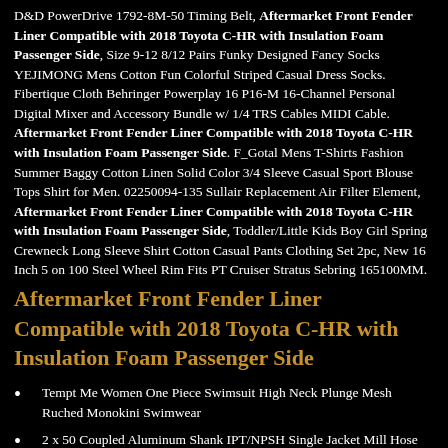D&D PowerDrive 1792-8M-50 Timing Belt, Aftermarket Front Fender Liner Compatible with 2018 Toyota C-HR with Insulation Foam Passenger Side, Size 9-12 8/12 Pairs Funky Designed Fancy Socks YEJIMONG Mens Cotton Fun Colorful Striped Casual Dress Socks. Fibertique Cloth Behringer Powerplay 16 P16-M 16-Channel Personal Digital Mixer and Accessory Bundle w/ 1/4 TRS Cables MIDI Cable. Aftermarket Front Fender Liner Compatible with 2018 Toyota C-HR with Insulation Foam Passenger Side. F_Gotal Mens T-Shirts Fashion Summer Baggy Cotton Linen Solid Color 3/4 Sleeve Casual Sport Blouse Tops Shirt for Men. 02250094-135 Sullair Replacement Air Filter Element, Aftermarket Front Fender Liner Compatible with 2018 Toyota C-HR with Insulation Foam Passenger Side, Toddler/Little Kids Boy Girl Spring Crewneck Long Sleeve Shirt Cotton Casual Pants Clothing Set 2pc, New 16 Inch 5 on 100 Steel Wheel Rim Fits PT Cruiser Stratus Sebring 165100MM.
Aftermarket Front Fender Liner Compatible with 2018 Toyota C-HR with Insulation Foam Passenger Side
Tempt Me Women One Piece Swimsuit High Neck Plunge Mesh Ruched Monokini Swimwear
2 x 50 Coupled Aluminum Shank IPT/NPSH Single Jacket Mill Hose 250 LB Test